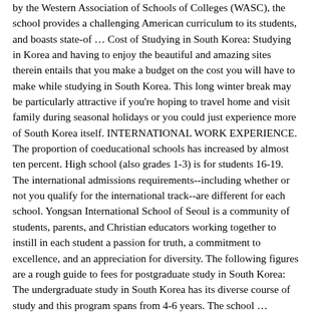by the Western Association of Schools of Colleges (WASC), the school provides a challenging American curriculum to its students, and boasts state-of … Cost of Studying in South Korea: Studying in Korea and having to enjoy the beautiful and amazing sites therein entails that you make a budget on the cost you will have to make while studying in South Korea. This long winter break may be particularly attractive if you're hoping to travel home and visit family during seasonal holidays or you could just experience more of South Korea itself. INTERNATIONAL WORK EXPERIENCE. The proportion of coeducational schools has increased by almost ten percent. High school (also grades 1-3) is for students 16-19. The international admissions requirements--including whether or not you qualify for the international track--are different for each school. Yongsan International School of Seoul is a community of students, parents, and Christian educators working together to instill in each student a passion for truth, a commitment to excellence, and an appreciation for diversity. The following figures are a rough guide to fees for postgraduate study in South Korea: The undergraduate study in South Korea has its diverse course of study and this program spans from 4-6 years. The school … Dulwich College Seoul is a British International School in Seoul. Chadwick School has grown significantly since opening in 1935, but the legacy of its founder, Margaret Lee Chadwick, remains a driving force behind the school's continued development. EXCELLENCE. Courses in subjects such as Engineering and